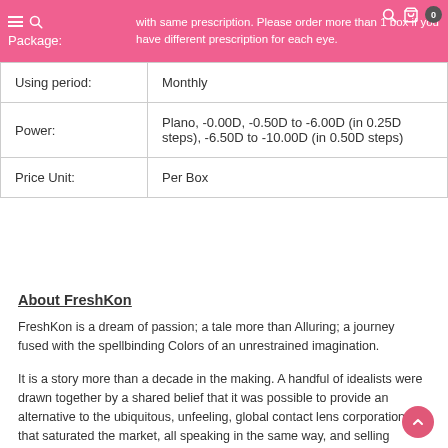Package: with same prescription. Please order more than 1 box if you have different prescription for each eye.
| Package: | with same prescription. Please order more than 1 box if you have different prescription for each eye. |
| Using period: | Monthly |
| Power: | Plano, -0.00D, -0.50D to -6.00D (in 0.25D steps), -6.50D to -10.00D (in 0.50D steps) |
| Price Unit: | Per Box |
About FreshKon
FreshKon is a dream of passion; a tale more than Alluring; a journey fused with the spellbinding Colors of an unrestrained imagination.
It is a story more than a decade in the making. A handful of idealists were drawn together by a shared belief that it was possible to provide an alternative to the ubiquitous, unfeeling, global contact lens corporations that saturated the market, all speaking in the same way, and selling without truly believing in the magic of their products to shift mindsets and change lives.